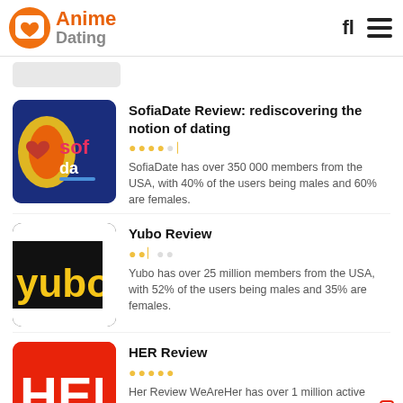Anime Dating
SofiaDate Review: rediscovering the notion of dating
SofiaDate has over 350 000 members from the USA, with 40% of the users being males and 60% are females.
Yubo Review
Yubo has over 25 million members from the USA, with 52% of the users being males and 35% are females.
HER Review
Her Review WeAreHer has over 1 million active members from the USA, and 100% of users are females.